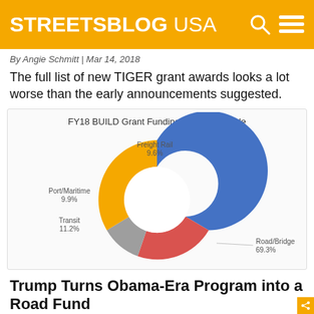STREETSBLOG USA
By Angie Schmitt | Mar 14, 2018
The full list of new TIGER grant awards looks a lot worse than the early announcements suggested.
[Figure (donut-chart): FY18 BUILD Grant Funding Totals, by Mode]
Trump Turns Obama-Era Program into a Road Fund
By Angie Schmitt | Dec 19, 2018